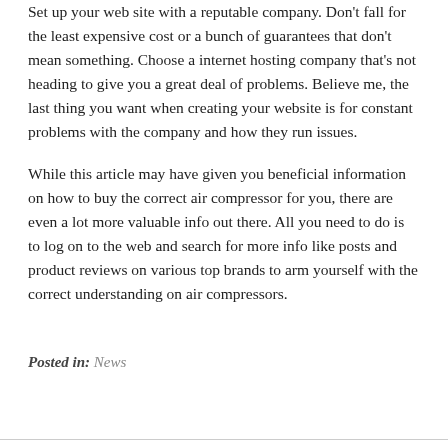Set up your web site with a reputable company. Don't fall for the least expensive cost or a bunch of guarantees that don't mean something. Choose a internet hosting company that's not heading to give you a great deal of problems. Believe me, the last thing you want when creating your website is for constant problems with the company and how they run issues.
While this article may have given you beneficial information on how to buy the correct air compressor for you, there are even a lot more valuable info out there. All you need to do is to log on to the web and search for more info like posts and product reviews on various top brands to arm yourself with the correct understanding on air compressors.
Posted in: News